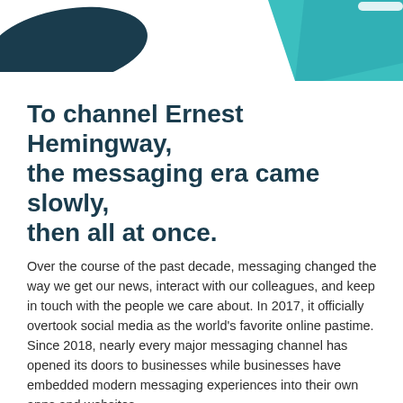[Figure (illustration): Decorative dark navy organic blob shape in upper left corner and teal/cyan angular shape in upper right corner of the page]
To channel Ernest Hemingway, the messaging era came slowly, then all at once.
Over the course of the past decade, messaging changed the way we get our news, interact with our colleagues, and keep in touch with the people we care about. In 2017, it officially overtook social media as the world's favorite online pastime. Since 2018, nearly every major messaging channel has opened its doors to businesses while businesses have embedded modern messaging experiences into their own apps and websites.